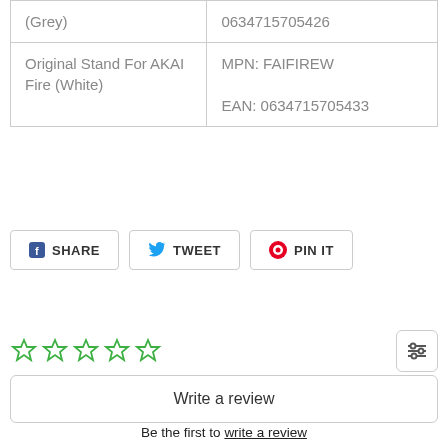| (Grey) | 0634715705426 |
| Original Stand For AKAI Fire (White) | MPN: FAIFIREW

EAN: 0634715705433 |
[Figure (other): Social sharing buttons: Facebook SHARE, Twitter TWEET, Pinterest PIN IT]
[Figure (other): Five empty star rating icons in green]
[Figure (other): Filter/settings icon with three horizontal sliders]
Write a review
Be the first to write a review